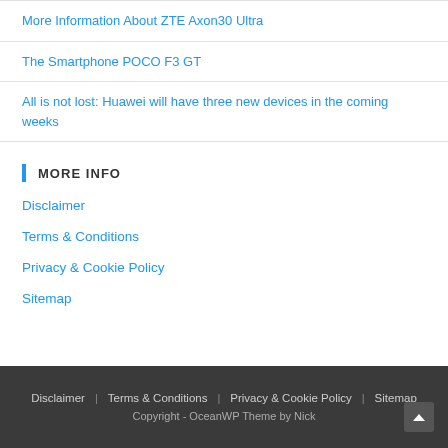More Information About ZTE Axon30 Ultra
The Smartphone POCO F3 GT
All is not lost: Huawei will have three new devices in the coming weeks
MORE INFO
Disclaimer
Terms & Conditions
Privacy & Cookie Policy
Sitemap
Disclaimer | Terms & Conditions | Privacy & Cookie Policy | Sitemap
Copyright - OceanWP Theme by Nick